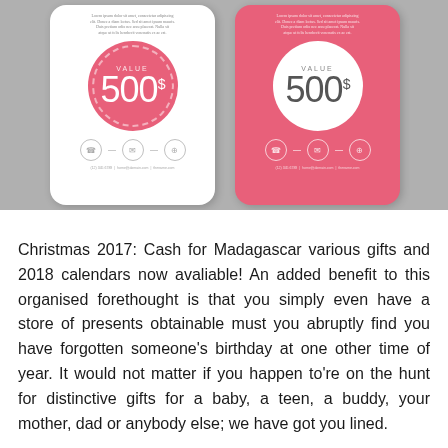[Figure (illustration): Two gift cards side by side on a gray background. Left card is white with a pink circle showing 'VALUE 500$' with scallop border, icons row, and footer text. Right card is pink with a white circle showing 'VALUE 500$' with scallop border, icons row, and footer text.]
Christmas 2017: Cash for Madagascar various gifts and 2018 calendars now avaliable! An added benefit to this organised forethought is that you simply even have a store of presents obtainable must you abruptly find you have forgotten someone's birthday at one other time of year. It would not matter if you happen to're on the hunt for distinctive gifts for a baby, a teen, a buddy, your mother, dad or anybody else; we have got you lined.